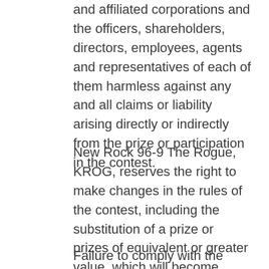and affiliated corporations and the officers, shareholders, directors, employees, agents and representatives of each of them harmless against any and all claims or liability arising directly or indirectly from the prize or participation in the contest.
New Rock 96-9 The Rogue, KROG, reserves the right to make changes in the rules of the contest, including the substitution of a prize or prizes of equivalent or greater value, which will become effective upon announcement.
Failure to comply with the contest rules